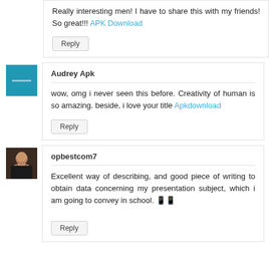Really interesting men! I have to share this with my friends! So great!!! APK Download
Reply
Audrey Apk
wow, omg i never seen this before. Creativity of human is so amazing. beside, i love your title Apkdownload
Reply
[Figure (photo): Teal/blue square avatar with a short horizontal white line in the center]
opbestcom7
Excellent way of describing, and good piece of writing to obtain data concerning my presentation subject, which i am going to convey in school.
Reply